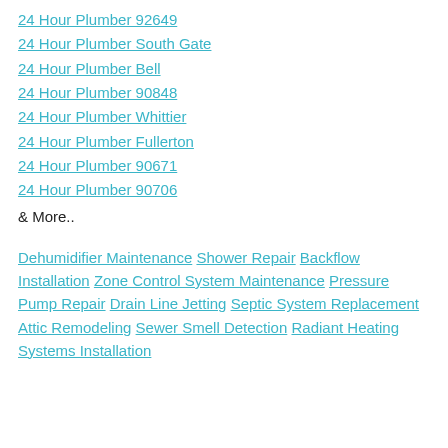24 Hour Plumber 92649
24 Hour Plumber South Gate
24 Hour Plumber Bell
24 Hour Plumber 90848
24 Hour Plumber Whittier
24 Hour Plumber Fullerton
24 Hour Plumber 90671
24 Hour Plumber 90706
& More..
Dehumidifier Maintenance Shower Repair Backflow Installation Zone Control System Maintenance Pressure Pump Repair Drain Line Jetting Septic System Replacement Attic Remodeling Sewer Smell Detection Radiant Heating Systems Installation